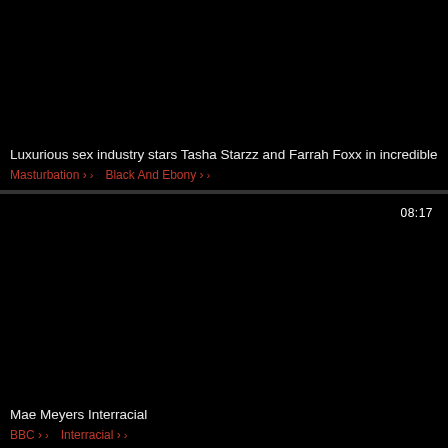[Figure (screenshot): Black thumbnail area for first video card]
Luxurious sex industry stars Tasha Starzz and Farrah Foxx in incredible
Masturbation > Black And Ebony >
[Figure (screenshot): Black thumbnail area for second video card with duration badge 08:17]
Mae Meyers Interracial
BBC > Interracial >